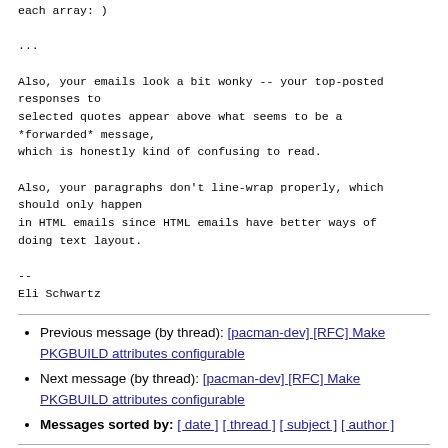each array: )

...

Also, your emails look a bit wonky -- your top-posted responses to
selected quotes appear above what seems to be a *forwarded* message,
which is honestly kind of confusing to read.

Also, your paragraphs don't line-wrap properly, which should only happen
in HTML emails since HTML emails have better ways of doing text layout.

--
Eli Schwartz
Previous message (by thread): [pacman-dev] [RFC] Make PKGBUILD attributes configurable
Next message (by thread): [pacman-dev] [RFC] Make PKGBUILD attributes configurable
Messages sorted by: [ date ] [ thread ] [ subject ] [ author ]
More information about the pacman-dev mailing list